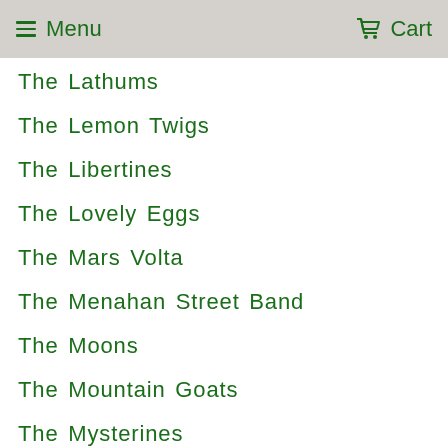Menu  Cart
The Lathums
The Lemon Twigs
The Libertines
The Lovely Eggs
The Mars Volta
The Menahan Street Band
The Moons
The Mountain Goats
The Mysterines
The National
The Nightingales
The Offspring
The Ohsees
The Oriolles